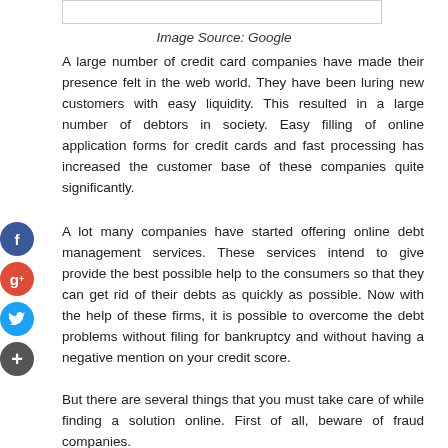[Figure (other): White image placeholder box at top of page]
Image Source: Google
A large number of credit card companies have made their presence felt in the web world. They have been luring new customers with easy liquidity. This resulted in a large number of debtors in society. Easy filling of online application forms for credit cards and fast processing has increased the customer base of these companies quite significantly.
A lot many companies have started offering online debt management services. These services intend to give provide the best possible help to the consumers so that they can get rid of their debts as quickly as possible. Now with the help of these firms, it is possible to overcome the debt problems without filing for bankruptcy and without having a negative mention on your credit score.
But there are several things that you must take care of while finding a solution online. First of all, beware of fraud companies.